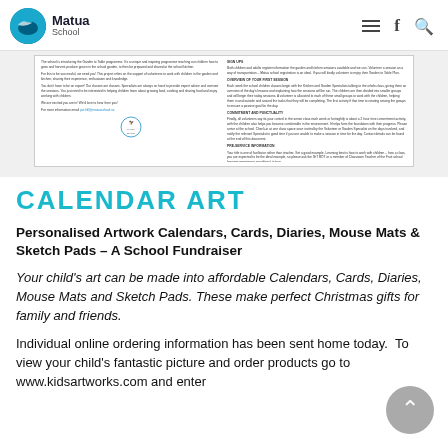Matua School
[Figure (screenshot): A scanned newsletter document page with two columns of small text about the Garden to Table programme, including a school logo/crest at the bottom of the left column.]
CALENDAR ART
Personalised Artwork Calendars, Cards, Diaries, Mouse Mats & Sketch Pads – A School Fundraiser
Your child's art can be made into affordable Calendars, Cards, Diaries, Mouse Mats and Sketch Pads. These make perfect Christmas gifts for family and friends.
Individual online ordering information has been sent home today.  To view your child's fantastic picture and order products go to www.kidsartworks.com and enter